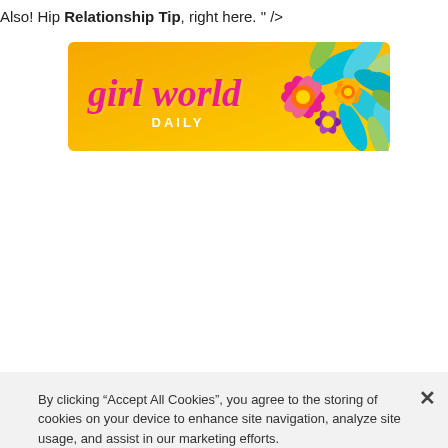Also! Hip Relationship Tip, right here. " />
[Figure (logo): Girl World Daily banner with orange/yellow gradient background, colorful floral design on the right, and pink cursive 'girl world' text with 'DAILY' below in white letters]
By clicking “Accept All Cookies”, you agree to the storing of cookies on your device to enhance site navigation, analyze site usage, and assist in our marketing efforts.